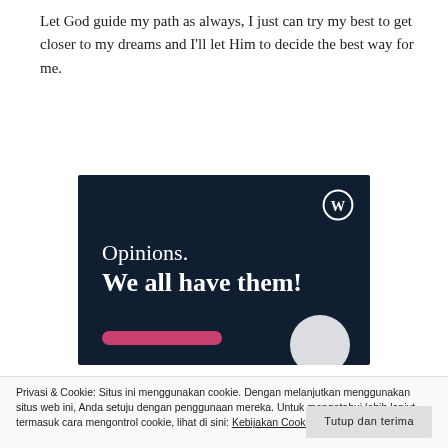Let God guide my path as always, I just can try my best to get closer to my dreams and I'll let Him to decide the best way for me.
[Figure (illustration): WordPress.com promotional banner on dark navy background with WordPress logo (circle W), text 'Opinions. We all have them!', a pink rounded button bar at bottom left, and a white half-circle at bottom right.]
Privasi & Cookie: Situs ini menggunakan cookie. Dengan melanjutkan menggunakan situs web ini, Anda setuju dengan penggunaan mereka. Untuk mengetahui lebih lanjut, termasuk cara mengontrol cookie, lihat di sini: Kebijakan Cookie
Tutup dan terima
Groove *yummy* and we started to talk about our fun